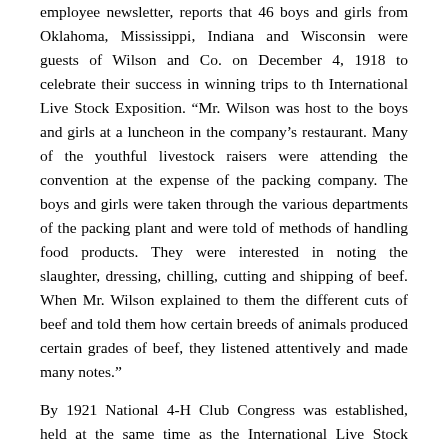employee newsletter, reports that 46 boys and girls from Oklahoma, Mississippi, Indiana and Wisconsin were guests of Wilson and Co. on December 4, 1918 to celebrate their success in winning trips to th International Live Stock Exposition. “Mr. Wilson was host to the boys and girls at a luncheon in the company’s restaurant. Many of the youthful livestock raisers were attending the convention at the expense of the packing company. The boys and girls were taken through the various departments of the packing plant and were told of methods of handling food products. They were interested in noting the slaughter, dressing, chilling, cutting and shipping of beef. When Mr. Wilson explained to them the different cuts of beef and told them how certain breeds of animals produced certain grades of beef, they listened attentively and made many notes.”
By 1921 National 4-H Club Congress was established, held at the same time as the International Live Stock Exposition, and Thos. E. Wilson Day became a key event of the Club Congress. Mr. Wilson thrilled in being the special host to these boys and girls from across America and he wanted to give them new experiences for them to remember for many